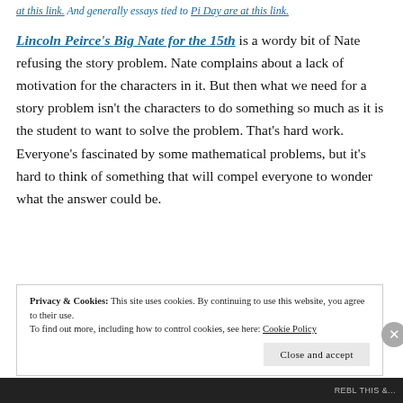at this link. And generally essays tied to Pi Day are at this link.
Lincoln Peirce's Big Nate for the 15th is a wordy bit of Nate refusing the story problem. Nate complains about a lack of motivation for the characters in it. But then what we need for a story problem isn't the characters to do something so much as it is the student to want to solve the problem. That's hard work. Everyone's fascinated by some mathematical problems, but it's hard to think of something that will compel everyone to wonder what the answer could be.
Privacy & Cookies: This site uses cookies. By continuing to use this website, you agree to their use.
To find out more, including how to control cookies, see here: Cookie Policy
Close and accept